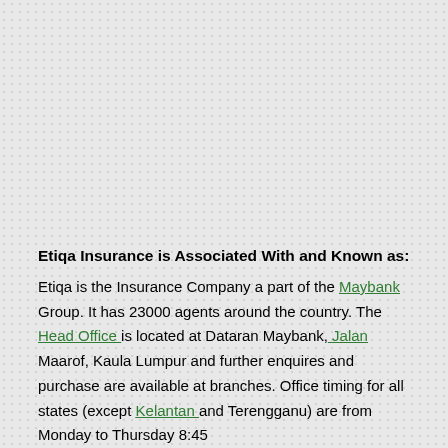Etiqa Insurance is Associated With and Known as:
Etiqa is the Insurance Company a part of the Maybank Group. It has 23000 agents around the country. The Head Office is located at Dataran Maybank, Jalan Maarof, Kaula Lumpur and further enquires and purchase are available at branches. Office timing for all states (except Kelantan and Terengganu) are from Monday to Thursday 8:45